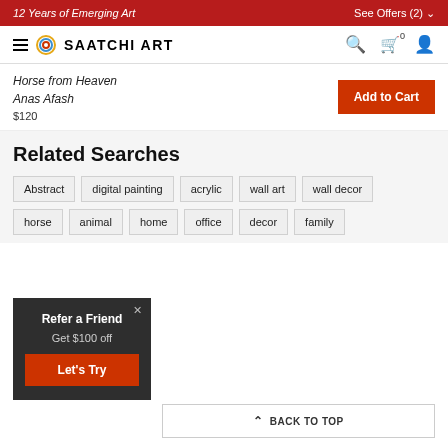12 Years of Emerging Art | See Offers (2)
[Figure (logo): Saatchi Art logo with circular icon and text SAATCHI ART, hamburger menu, search, cart, and user icons in navigation bar]
Horse from Heaven
Anas Afash
$120
Related Searches
Abstract
digital painting
acrylic
wall art
wall decor
horse
animal
home
office
decor
family
Refer a Friend
Get $100 off
Let's Try
BACK TO TOP